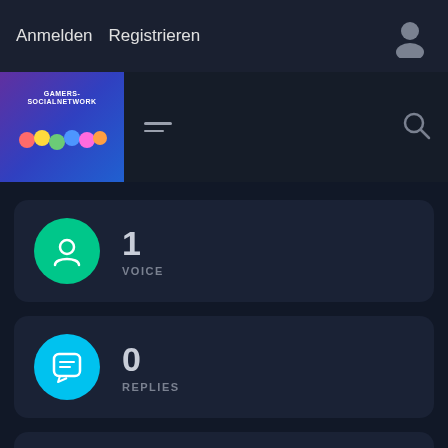Anmelden  Registrieren
[Figure (screenshot): Gamers-Socialnetwork logo image with colorful game characters on a purple/space background]
1
VOICE
0
REPLIES
Tags